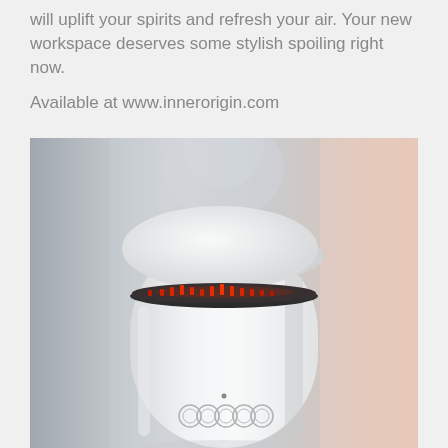will uplift your spirits and refresh your air. Your new workspace deserves some stylish spoiling right now.
Available at www.innerorigin.com
[Figure (photo): Close-up photo of a white cylindrical air purifier device with a mushroom-shaped top cap, red LED indicator lights around the rim, and circular control buttons on the front panel. Background is blurred with soft grey and pink tones.]